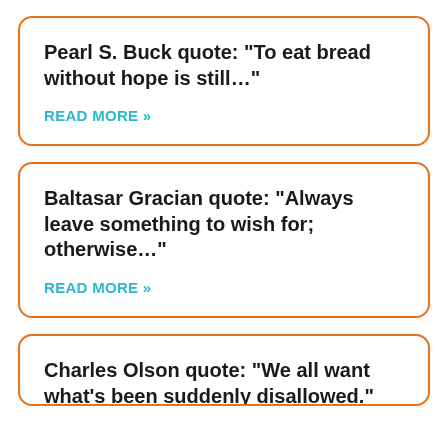Pearl S. Buck quote: “To eat bread without hope is still…”
READ MORE »
Baltasar Gracian quote: “Always leave something to wish for; otherwise…”
READ MORE »
Charles Olson quote: “We all want what’s been suddenly disallowed.”